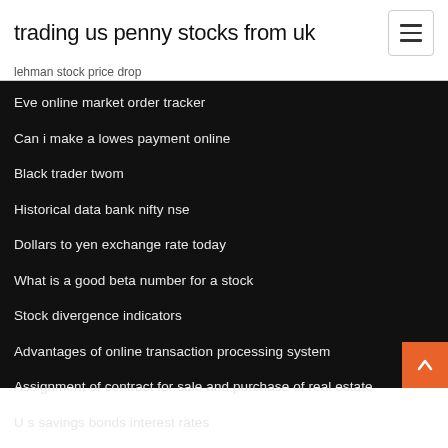trading us penny stocks from uk
lehman stock price drop
Eve online market order tracker
Can i make a lowes payment online
Black trader twom
Historical data bank nifty nse
Dollars to yen exchange rate today
What is a good beta number for a stock
Stock divergence indicators
Advantages of online transaction processing system
Assignment of contract for sale and purchase of real estate
U s savings bonds interest rates